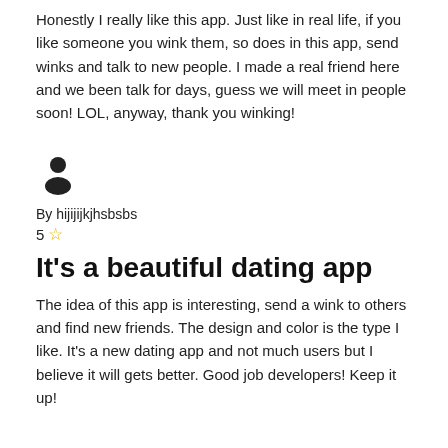Honestly I really like this app. Just like in real life, if you like someone you wink them, so does in this app, send winks and talk to new people. I made a real friend here and we been talk for days, guess we will meet in people soon! LOL, anyway, thank you winking!
[Figure (illustration): Generic user avatar icon (silhouette of a person)]
By hijijijkjhsbsbs
5 ☆
It's a beautiful dating app
The idea of this app is interesting, send a wink to others and find new friends. The design and color is the type I like. It's a new dating app and not much users but I believe it will gets better. Good job developers! Keep it up!